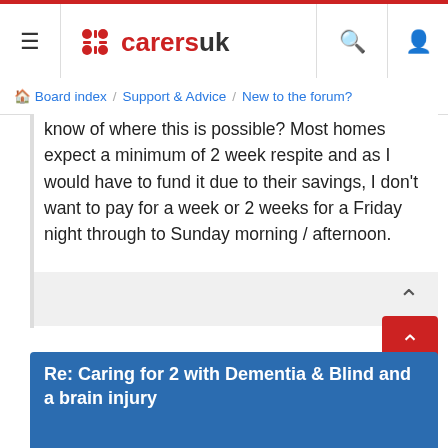[Figure (screenshot): CarersUK website header navigation bar with hamburger menu, CarersUK logo in red, search icon, and user icon]
Board index / Support & Advice / New to the forum?
know of where this is possible? Most homes expect a minimum of 2 week respite and as I would have to fund it due to their savings, I don't want to pay for a week or 2 weeks for a Friday night through to Sunday morning / afternoon.

I almost feel guilty asking this question, but if I don't get a break, I can see my health going downhill very quickly.

A huge thanks in advance people.

Jason
Re: Caring for 2 with Dementia & Blind and a brain injury